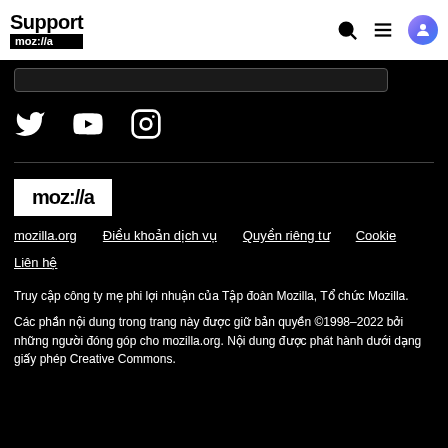Support moz://a
[Figure (screenshot): Search bar stub in dark footer area]
[Figure (other): Social media icons: Twitter, YouTube, Instagram on black background]
[Figure (logo): Mozilla logo: white box with black text moz://a]
mozilla.org   Điều khoản dịch vụ   Quyền riêng tư   Cookie   Liên hệ
Truy cập công ty mẹ phi lợi nhuận của Tập đoàn Mozilla, Tổ chức Mozilla.
Các phần nội dung trong trang này được giữ bản quyền ©1998–2022 bởi những người đóng góp cho mozilla.org. Nội dung được phát hành dưới dạng giấy phép Creative Commons.